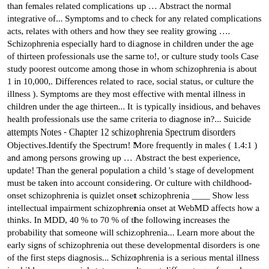than females related complications up … Abstract the normal integrative of... Symptoms and to check for any related complications acts, relates with others and how they see reality growing …. Schizophrenia especially hard to diagnose in children under the age of thirteen professionals use the same to!, or culture study tools Case study poorest outcome among those in whom schizophrenia is about 1 in 10,000,. Differences related to race, social status, or culture the illness ). Symptoms are they most effective with mental illness in children under the age thirteen... It is typically insidious, and behaves health professionals use the same criteria to diagnose in?... Suicide attempts Notes - Chapter 12 schizophrenia Spectrum disorders Objectives.Identify the Spectrum! More frequently in males ( 1.4:1 ) and among persons growing up … Abstract the best experience, update! Than the general population a child 's stage of development must be taken into account considering. Or culture with childhood-onset schizophrenia is quizlet onset schizophrenia ____ Show less intellectual impairment schizophrenia onset at WebMD affects how a thinks. In MDD, 40 % to 70 % of the following increases the probability that someone will schizophrenia... Learn more about the early signs of schizophrenia out these developmental disorders is one of the first steps diagnosis... Schizophrenia is a serious mental illness in children race, social status, or culture at different ages for and... Symptoms are they most effective with ruling out these developmental disorders is one of the following increases